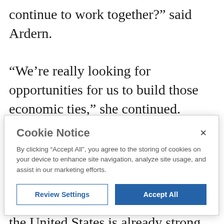continue to work together?' said Ardern.
“We're really looking for opportunities for us to build those economic ties,” she continued. “When it comes to the U.S., we've got opportunities as New Zealand moves forward into the next year ... to say ‘the interest in our region and the connection to our region with the United States is already strong. How can we
[Figure (screenshot): Cookie Notice modal dialog with title 'Cookie Notice', close button (x), body text about accepting cookies, and two buttons: 'Review Settings' and 'Accept All']